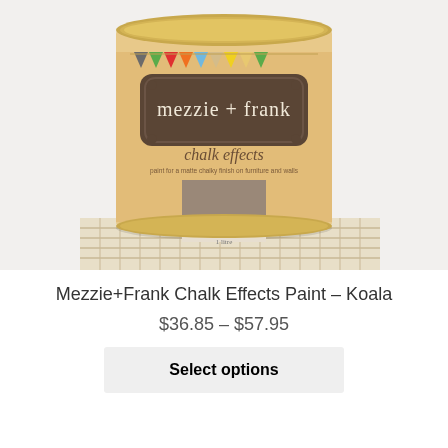[Figure (photo): A cylindrical paint can with a kraft/beige label. The label shows colorful triangle bunting flags at the top, a dark brown ornate badge with 'mezzie + frank' in white text, then 'chalk effects' in brown text, 'paint for a matte chalky finish on furniture and walls', a square color swatch in taupe/koala color, and text 'koala' and '1 litre'. The can sits on a wicker/rattan surface.]
Mezzie+Frank Chalk Effects Paint – Koala
$36.85 – $57.95
Select options